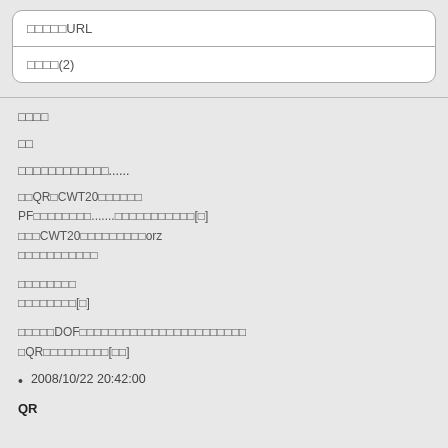□□□□□URL
□□□□(2)
□□□□
□□
□□□□□□□□□□□□......
□□QR□CWT20□□□□□□
PF□□□□□□□□.......□□□□□□□□□□□[□]
□□□CWT20□□□□□□□□□orz
□□□□□□□□□□□
□□□□□□□□
□□□□□□□□[□]
□□□□□DOF□□□□□□□□□□□□□□□□□□□□□□□
□QR□□□□□□□□□[□□]
2008/10/22 20:42:00
QR